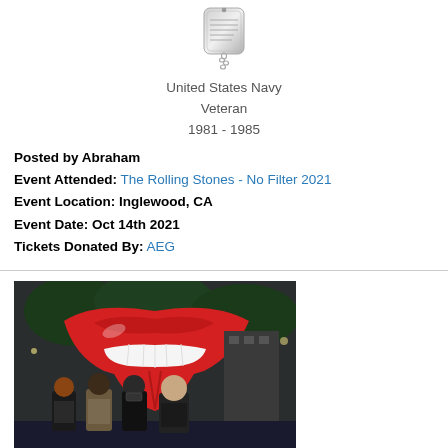[Figure (illustration): Military dog tag pendant on a chain — United States Navy Veteran medallion graphic]
United States Navy
Veteran
1981 - 1985
Posted by Abraham
Event Attended: The Rolling Stones - No Filter 2021
Event Location: Inglewood, CA
Event Date: Oct 14th 2021
Tickets Donated By: AEG
[Figure (photo): Four people posing in front of a large Rolling Stones lips and tongue logo sculpture outside a concert venue at night]